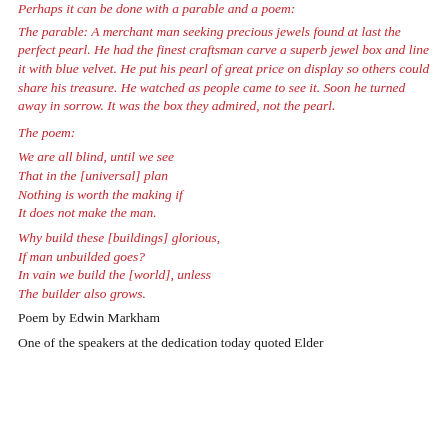Perhaps it can be done with a parable and a poem:
The parable: A merchant man seeking precious jewels found at last the perfect pearl. He had the finest craftsman carve a superb jewel box and line it with blue velvet. He put his pearl of great price on display so others could share his treasure. He watched as people came to see it. Soon he turned away in sorrow. It was the box they admired, not the pearl.
The poem:
We are all blind, until we see
That in the [universal] plan
Nothing is worth the making if
It does not make the man.
Why build these [buildings] glorious,
If man unbuilded goes?
In vain we build the [world], unless
The builder also grows.
Poem by Edwin Markham
One of the speakers at the dedication today quoted Elder